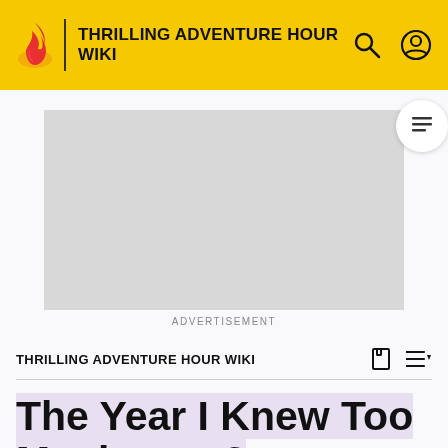THRILLING ADVENTURE HOUR WIKI
[Figure (other): Advertisement placeholder box (gray rectangle)]
ADVERTISEMENT
THRILLING ADVENTURE HOUR WIKI
The Year I Knew Too Much part 2